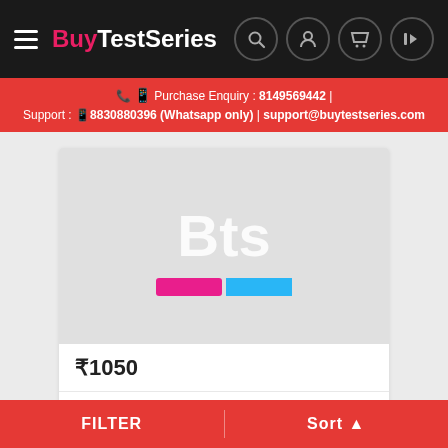BuyTestSeries
Purchase Enquiry : 8149569442 | Support : 8830880396 (Whatsapp only) | support@buytestseries.com
[Figure (logo): BuyTestSeries logo card showing 'Bts' text in white on light grey background with pink and blue color bars below]
₹1050
English Adaptive Program Online Test Series (9 Month
By TCYonline
FILTER    Sort ▲